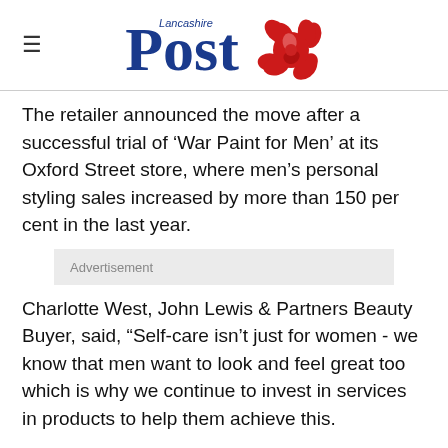Lancashire Post
The retailer announced the move after a successful trial of ‘War Paint for Men’ at its Oxford Street store, where men’s personal styling sales increased by more than 150 per cent in the last year.
Advertisement
Charlotte West, John Lewis & Partners Beauty Buyer, said, “Self-care isn’t just for women - we know that men want to look and feel great too which is why we continue to invest in services in products to help them achieve this.